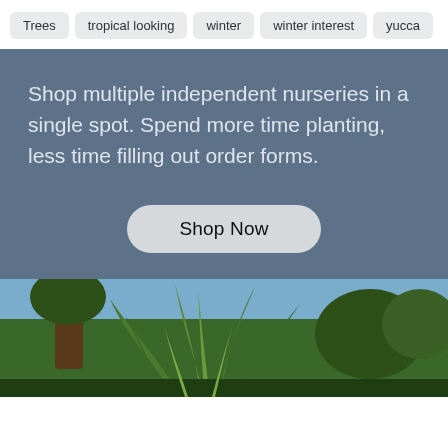Trees
tropical looking
winter
winter interest
yucca
Shop multiple independent nurseries in a single spot. Spend more time planting, less time filling out order forms.
Shop Now
[Figure (photo): Outdoor garden photo showing large agave and tropical plants with trees and blue sky in background]